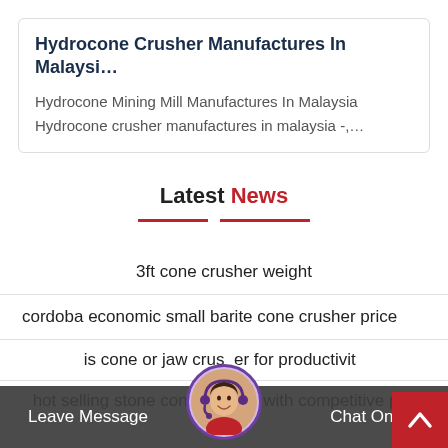Hydrocone Crusher Manufactures In Malaysi…
Hydrocone Mining Mill Manufactures In Malaysia
Hydrocone crusher manufactures in malaysia -,…
Latest News
3ft cone crusher weight
cordoba economic small barite cone crusher price
is cone or jaw crusher better for productivity
hot selling stone cone crusher with competitive p…
Leave Message   Chat Online